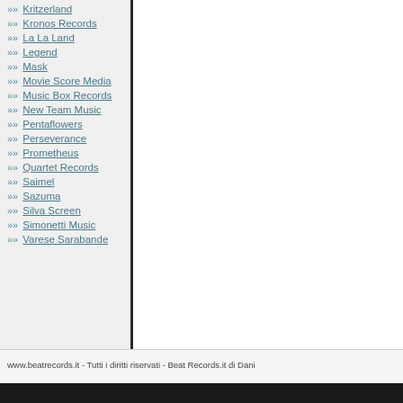Kritzerland
Kronos Records
La La Land
Legend
Mask
Movie Score Media
Music Box Records
New Team Music
Pentaflowers
Perseverance
Prometheus
Quartet Records
Saimel
Sazuma
Silva Screen
Simonetti Music
Varese Sarabande
www.beatrecords.it - Tutti i diritti riservati - Beat Records.it di Dani